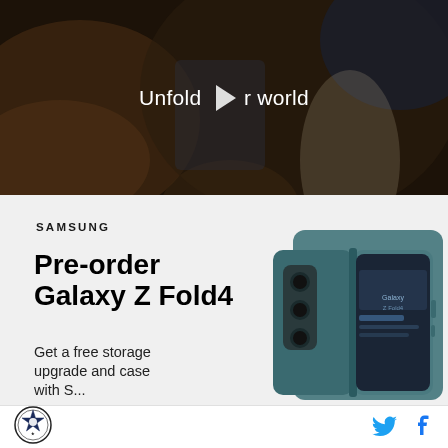[Figure (screenshot): Samsung Galaxy Z Fold4 promotional video thumbnail showing a woman holding up a folding phone in a dark car interior. Text overlay reads 'Unfold your world' with a play button icon.]
[Figure (illustration): Samsung advertisement section on light gray background showing Samsung logo, 'Pre-order Galaxy Z Fold4' headline, 'Get a free storage upgrade and case with...' text, and an image of the Samsung Galaxy Z Fold4 phone in teal/blue color.]
[Figure (logo): Round badge/seal logo at bottom left footer area — appears to be a star/sheriff badge style emblem.]
[Figure (logo): Twitter bird icon (blue) and Facebook 'f' icon (blue) in the bottom right footer area.]